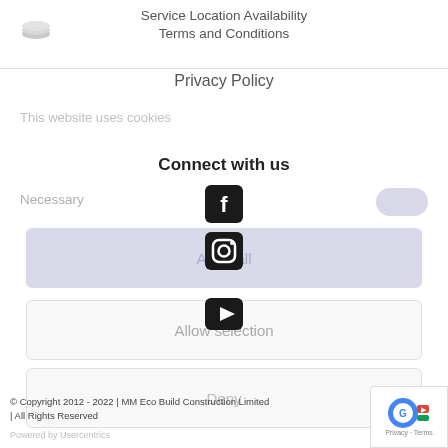[Figure (logo): Cookie/stack icon (gray)]
Service Location Availability
Terms and Conditions
Privacy Policy
This website uses cookies
Connect with us
[Figure (logo): Facebook logo icon (black rounded square with white f)]
[Figure (logo): Instagram logo icon (camera outline)]
Necessary
Allow all
[Figure (logo): YouTube play button icon (black rounded rectangle)]
Allow selection
Deny
© Copyright 2012 - 2022 | MM Eco Build Construction Limited | All Rights Reserved
Powered by Usercentrics
[Figure (logo): reCAPTCHA badge with Google logo — Privacy · Terms]